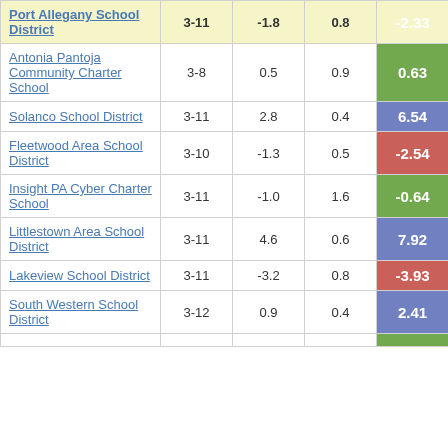| School | Grades | Col3 | Col4 | Score |
| --- | --- | --- | --- | --- |
| Port Allegany School District | 3-11 | -1.8 | 0.8 | -2.33 |
| Antonia Pantoja Community Charter School | 3-8 | 0.5 | 0.9 | 0.63 |
| Solanco School District | 3-11 | 2.8 | 0.4 | 6.54 |
| Fleetwood Area School District | 3-10 | -1.3 | 0.5 | -2.54 |
| Insight PA Cyber Charter School | 3-11 | -1.0 | 1.6 | -0.64 |
| Littlestown Area School District | 3-11 | 4.6 | 0.6 | 7.92 |
| Lakeview School District | 3-11 | -3.2 | 0.8 | -3.93 |
| South Western School District | 3-12 | 0.9 | 0.4 | 2.41 |